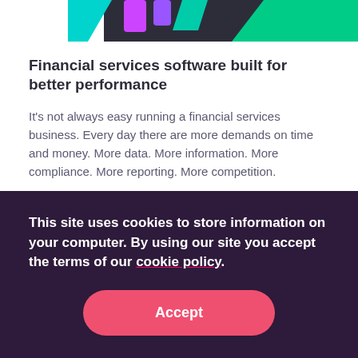[Figure (illustration): Partial illustration showing colorful graphic elements including cyan, magenta/purple, and green shapes with a dark background strip, cropped at the top of the page.]
Financial services software built for better performance
It's not always easy running a financial services business. Every day there are more demands on time and money. More data. More information. More compliance. More reporting. More competition.
We can help. Around the world, thousands of financial
This site uses cookies to store information on your computer. By using our site you accept the terms of our cookie policy.
Accept